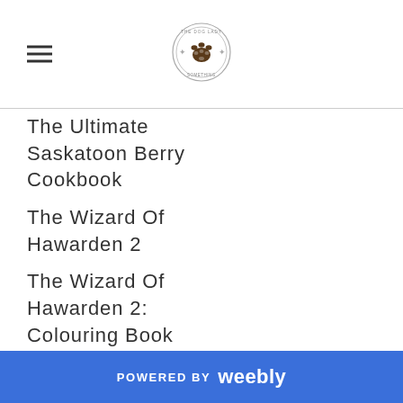[hamburger menu icon] [paw print logo]
The Ultimate Saskatoon Berry Cookbook
The Wizard Of Hawarden 2
The Wizard Of Hawarden 2: Colouring Book
Thriller
Tradeshow
Trade Show
POWERED BY weebly